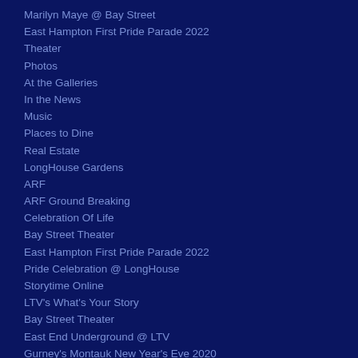Marilyn Maye @ Bay Street
East Hampton First Pride Parade 2022
Theater
Photos
At the Galleries
In the News
Music
Places to Dine
Real Estate
LongHouse Gardens
ARF
ARF Ground Breaking
Celebration Of Life
Bay Street Theater
East Hampton First Pride Parade 2022
Pride Celebration @ LongHouse
Storytime Online
LTV's What's Your Story
Bay Street Theater
East End Underground @ LTV
Gurney's Montauk New Year's Eve 2020
ARF Halloween Pawty
Kimberly Goff @ Ezra Gallery
Hampton Classic
Circus of Books